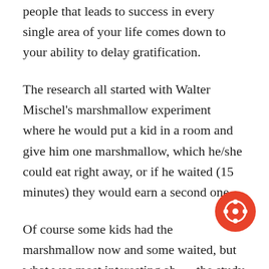people that leads to success in every single area of your life comes down to your ability to delay gratification.
The research all started with Walter Mischel's marshmallow experiment where he would put a kid in a room and give him one marshmallow, which he/she could eat right away, or if he waited (15 minutes) they would earn a second one.
Of course some kids had the marshmallow now and some waited, but what was most interesting about the study was that over the years they followed the kids and every single time they followed up, the kids